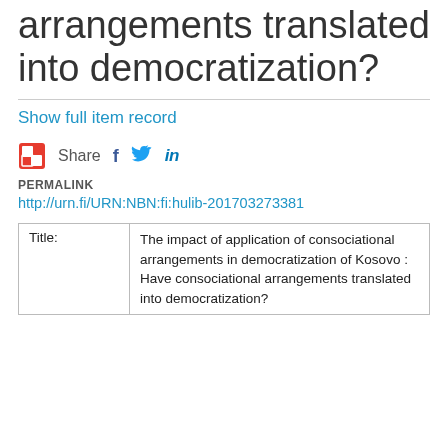arrangements translated into democratization?
Show full item record
Share
PERMALINK
http://urn.fi/URN:NBN:fi:hulib-201703273381
|  |  |
| --- | --- |
| Title: | The impact of application of consociational arrangements in democratization of Kosovo : Have consociational arrangements translated into democratization? |